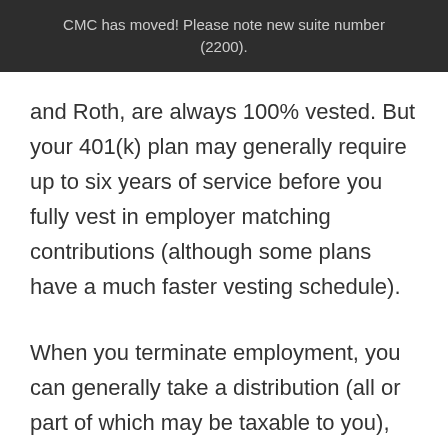CMC has moved! Please note new suite number (2200).
and Roth, are always 100% vested. But your 401(k) plan may generally require up to six years of service before you fully vest in employer matching contributions (although some plans have a much faster vesting schedule).
When you terminate employment, you can generally take a distribution (all or part of which may be taxable to you), leave your